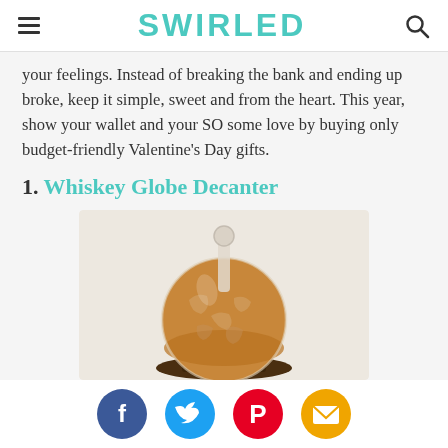SWIRLED
your feelings. Instead of breaking the bank and ending up broke, keep it simple, sweet and from the heart. This year, show your wallet and your SO some love by buying only budget-friendly Valentine's Day gifts.
1. Whiskey Globe Decanter
[Figure (photo): Photo of a whiskey globe decanter — a spherical glass decanter with a stopper, filled with amber whiskey, sitting on a dark wood cradle with etched world map continents on the glass.]
Social share buttons: Facebook, Twitter, Pinterest, Email